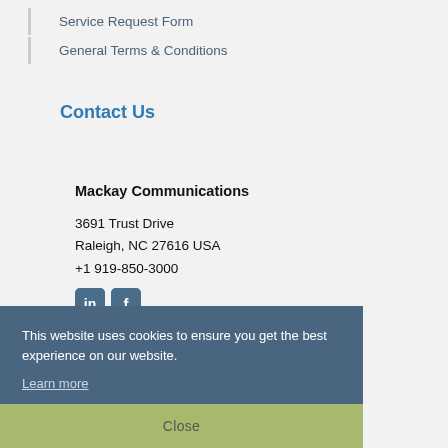Service Request Form
General Terms & Conditions
Contact Us
Mackay Communications
3691 Trust Drive
Raleigh, NC 27616 USA
+1 919-850-3000
[Figure (other): LinkedIn and Facebook social media icons]
This website uses cookies to ensure you get the best experience on our website.
Learn more
Close